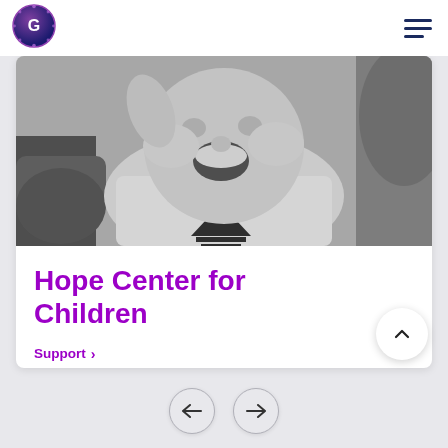[Figure (logo): Circular logo with letter G and text around the edge, purple/dark blue gradient]
[Figure (photo): Black and white photo of a laughing baby in an Adidas shirt, being held up by adult hands]
Hope Center for Children
Support >